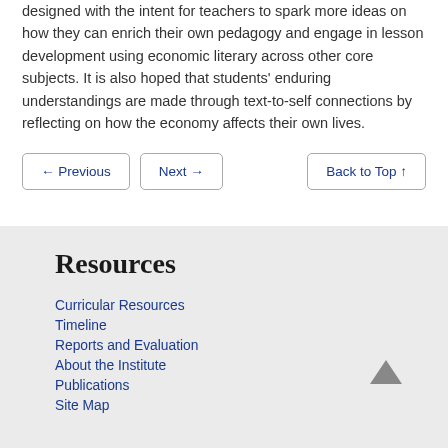designed with the intent for teachers to spark more ideas on how they can enrich their own pedagogy and engage in lesson development using economic literary across other core subjects. It is also hoped that students' enduring understandings are made through text-to-self connections by reflecting on how the economy affects their own lives.
← Previous
Next →
Back to Top ↑
Resources
Curricular Resources
Timeline
Reports and Evaluation
About the Institute
Publications
Site Map